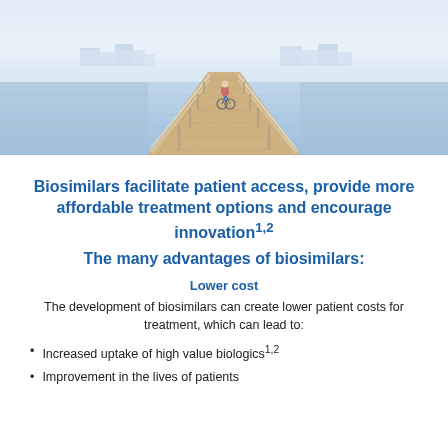[Figure (photo): Person riding a bicycle away from viewer along a long wooden pier/boardwalk over water, with a misty waterfront town visible in the background. The image has a light, airy tone with blues and whites.]
Biosimilars facilitate patient access, provide more affordable treatment options and encourage innovation1,2
The many advantages of biosimilars:
Lower cost
The development of biosimilars can create lower patient costs for treatment, which can lead to:
Increased uptake of high value biologics1,2
Improvement in the lives of patients